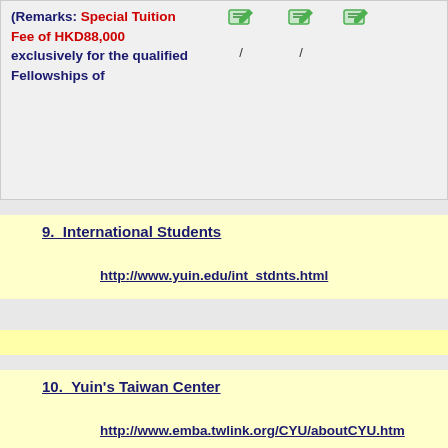| (Remarks: Special Tuition Fee of HKD88,000 exclusively for the qualified Fellowships of | / | / |  |
9.  International Students
http://www.yuin.edu/int_stdnts.html
10.  Yuin's Taiwan Center
http://www.emba.twlink.org/CYU/aboutCYU.htm